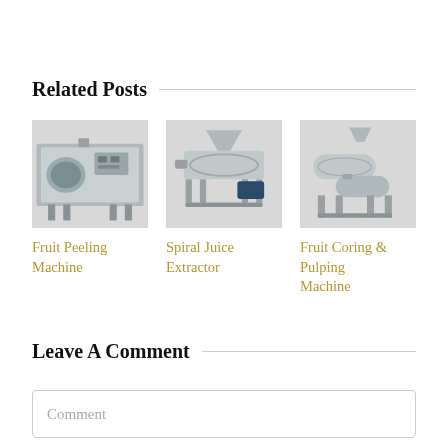Related Posts
[Figure (photo): Stainless steel fruit peeling machine with control panel and frame]
[Figure (photo): Spiral juice extractor with hopper, screw press and electric motor on a metal frame]
[Figure (photo): Fruit coring and pulping machine with cylindrical drum and metal frame]
Fruit Peeling Machine
Spiral Juice Extractor
Fruit Coring & Pulping Machine
Leave A Comment
Comment